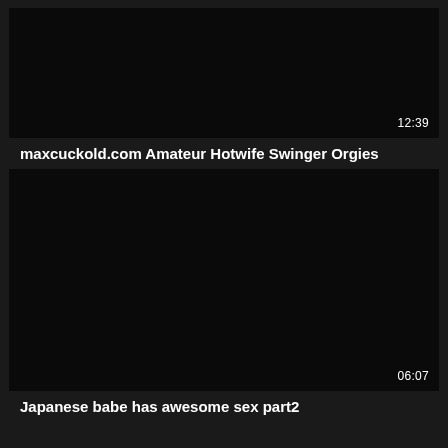[Figure (screenshot): Black video thumbnail with timestamp 12:39 in bottom right corner]
maxcuckold.com Amateur Hotwife Swinger Orgies
[Figure (screenshot): Black video thumbnail with timestamp 06:07 in bottom right corner]
Japanese babe has awesome sex part2